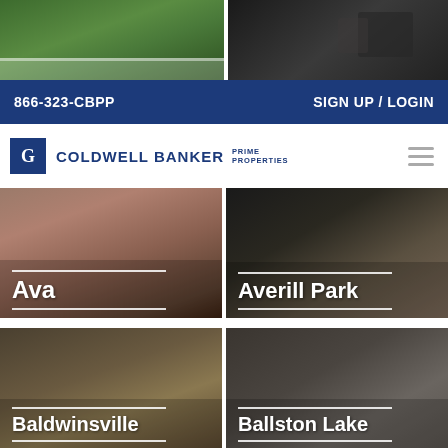[Figure (photo): Two property photos side by side at top of page - left shows green lawn/garden, right shows dark exterior with furniture]
866-323-CBPP | SIGN UP / LOGIN
[Figure (logo): Coldwell Banker Prime Properties logo with hamburger menu icon]
[Figure (photo): Ava property photo - decorative cushions/pillows with red stripes]
[Figure (photo): Averill Park property photo - house garage exterior]
[Figure (photo): Baldwinsville property photo - kitchen interior]
[Figure (photo): Ballston Lake property photo - interior room with windows]